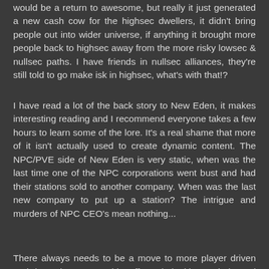would be a return to awesome, but really it just generated a new cash cow for the highsec dwellers, it didn't bring people out into wider universe, if anything it brought more people back to highsec away from the more risky lowsec & nullsec paths. I have friends in nullsec alliances, they're still told to go make isk in highsec, what's with that!?
I have read a lot of the back story to New Eden, it makes interesting reading and I recommend everyone takes a few hours to learn some of the lore. It's a real shame that more of it isn't actually used to create dynamic content. The NPC/PVE side of New Eden is very static, when was the last time one of the NPC corporations went bust and had their stations sold to another company. When was the last new company to put up a station? The intrigue and murders of NPC CEO's mean nothing...
There always needs to be a move to more player driven and dynamic content, old stuff needs looking at, balanced with some focus on things to nurture and grow the factions of